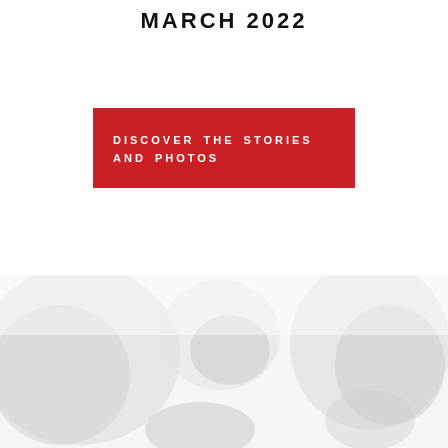MARCH 2022
DISCOVER THE STORIES AND PHOTOS
[Figure (photo): Faded/washed out photograph showing abstract light shapes, appears to be a crowd or outdoor scene with strong light and shadow, mostly white/light grey tones in lower half of page]